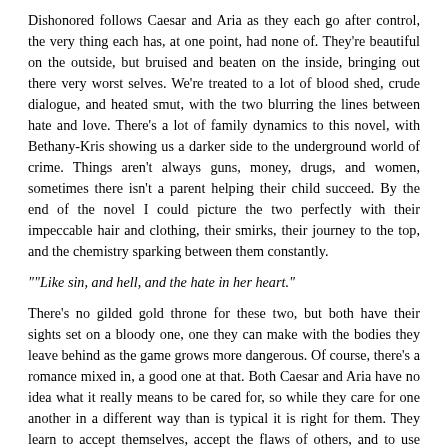Dishonored follows Caesar and Aria as they each go after control, the very thing each has, at one point, had none of. They're beautiful on the outside, but bruised and beaten on the inside, bringing out there very worst selves. We're treated to a lot of blood shed, crude dialogue, and heated smut, with the two blurring the lines between hate and love. There's a lot of family dynamics to this novel, with Bethany-Kris showing us a darker side to the underground world of crime. Things aren't always guns, money, drugs, and women, sometimes there isn't a parent helping their child succeed. By the end of the novel I could picture the two perfectly with their impeccable hair and clothing, their smirks, their journey to the top, and the chemistry sparking between them constantly.
""Like sin, and hell, and the hate in her heart."
There's no gilded gold throne for these two, but both have their sights set on a bloody one, one they can make with the bodies they leave behind as the game grows more dangerous. Of course, there's a romance mixed in, a good one at that. Both Caesar and Aria have no idea what it really means to be cared for, so while they care for one another in a different way than is typical it is right for them. They learn to accept themselves, accept the flaws of others, and to use their pain in a way that suits them. Each is broken, but together they're a perfect fit. I highly recommend Dishonored, it's a memorable read that has some fantastic character development. If